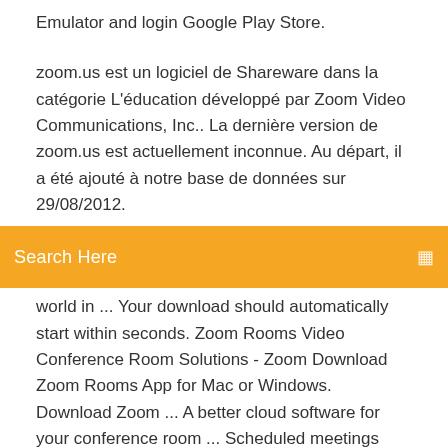Emulator and login Google Play Store.
zoom.us est un logiciel de Shareware dans la catégorie L'éducation développé par Zoom Video Communications, Inc.. La dernière version de zoom.us est actuellement inconnue. Au départ, il a été ajouté à notre base de données sur 29/08/2012.
Search Here
world in ... Your download should automatically start within seconds. Zoom Rooms Video Conference Room Solutions - Zoom Download Zoom Rooms App for Mac or Windows. Download Zoom ... A better cloud software for your conference room ... Scheduled meetings with Calendar Integration ... Each Zoom Rooms subscription comes with a free 30-day trial period.
https://zoom.us/meetings
https://play.google.com/store/apps/details?
id=us.zoom.videomeetings&hl=en